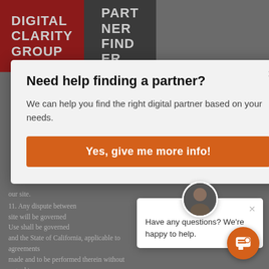[Figure (logo): Digital Clarity Group Partner Finder logo with dark red and dark gray blocks]
Need help finding a partner?

We can help you find the right digital partner based on your needs.
Yes, give me more info!
[Figure (photo): Small chat popup with avatar photo of a man, text: Have any questions? We're happy to help.]
Have any questions? We're happy to help.
11. Any dispute between ... site will be governed ... Use shall be governed ... and the State of California, applicable to agreements made and to be performed therein without regard to conflict of laws principles. BY CONTINUING TO USE SITE, YOU AGREE TO ABIDE BY THESE TERMS OF
our site.